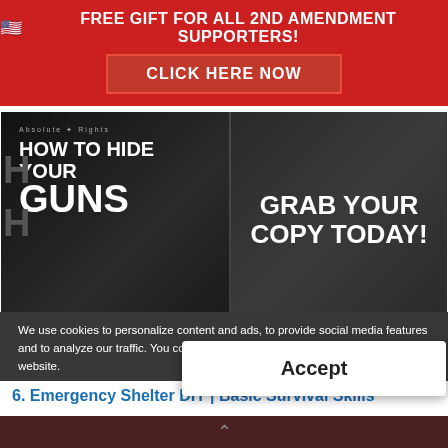🇺🇸 FREE GIFT FOR ALL 2ND AMENDMENT SUPPORTERS!
CLICK HERE NOW
[Figure (illustration): Book advertisement image showing 'How To Hide Your Guns' with text 'GRAB YOUR COPY TODAY!' on dark background with firearms imagery]
We use cookies to personalize content and ads, to provide social media features and to analyze our traffic. You consent to our cookies if you continue to use our website.
6. Emergency Shelter DIY | Basic Survival Skills
Accept